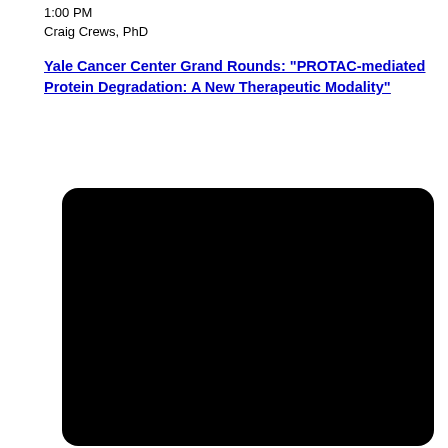1:00 PM
Craig Crews, PhD
Yale Cancer Center Grand Rounds: "PROTAC-mediated Protein Degradation: A New Therapeutic Modality"
[Figure (photo): Black video thumbnail / embedded video player with rounded corners, showing a dark/black screen]